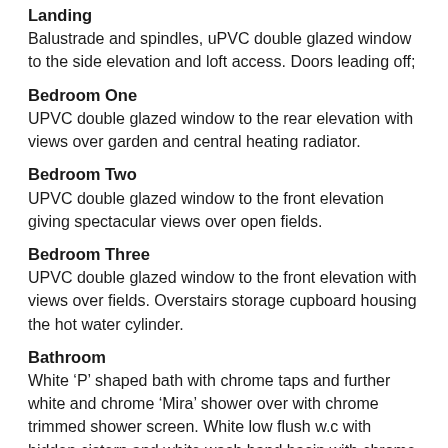Landing
Balustrade and spindles, uPVC double glazed window to the side elevation and loft access. Doors leading off;
Bedroom One
UPVC double glazed window to the rear elevation with views over garden and central heating radiator.
Bedroom Two
UPVC double glazed window to the front elevation giving spectacular views over open fields.
Bedroom Three
UPVC double glazed window to the front elevation with views over fields. Overstairs storage cupboard housing the hot water cylinder.
Bathroom
White ‘P’ shaped bath with chrome taps and further white and chrome ‘Mira’ shower over with chrome trimmed shower screen. White low flush w.c with hidden cistern and white wash hand basin with chrome taps over set into white vanity unit. UPVC double glazed frosted window to